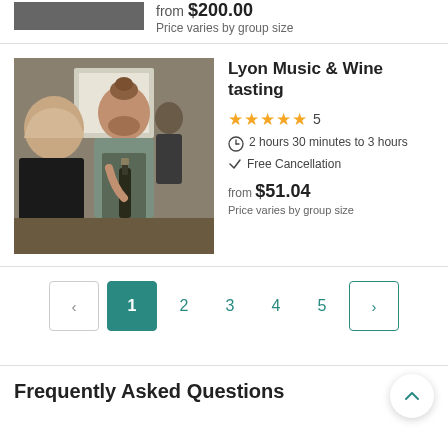from $200.00
Price varies by group size
[Figure (photo): Photo of people at a wine tasting event; a man with a bun hairstyle holding a wine bottle talks to a woman]
Lyon Music & Wine tasting
★★★★★ 5
2 hours 30 minutes to 3 hours
Free Cancellation
from $51.04
Price varies by group size
< 1 2 3 4 5 >
Frequently Asked Questions